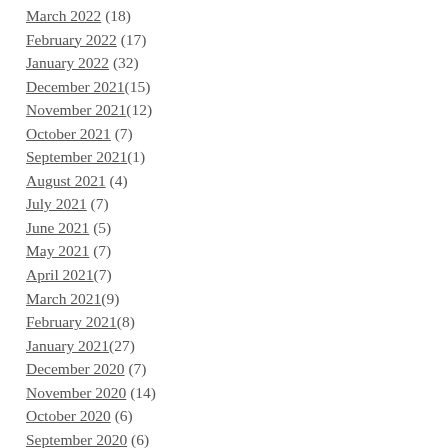March 2022 (18)
February 2022 (17)
January 2022 (32)
December 2021 (15)
November 2021 (12)
October 2021 (7)
September 2021 (1)
August 2021 (4)
July 2021 (7)
June 2021 (5)
May 2021 (7)
April 2021 (7)
March 2021 (9)
February 2021 (8)
January 2021 (27)
December 2020 (7)
November 2020 (14)
October 2020 (6)
September 2020 (6)